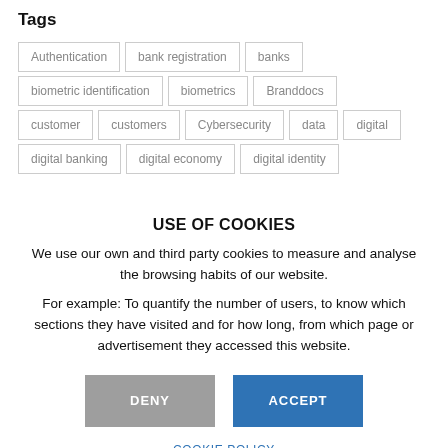Tags
Authentication
bank registration
banks
biometric identification
biometrics
Branddocs
customer
customers
Cybersecurity
data
digital
digital banking
digital economy
digital identity
USE OF COOKIES
We use our own and third party cookies to measure and analyse the browsing habits of our website.
For example: To quantify the number of users, to know which sections they have visited and for how long, from which page or advertisement they accessed this website.
DENY
ACCEPT
COOKIE POLICY